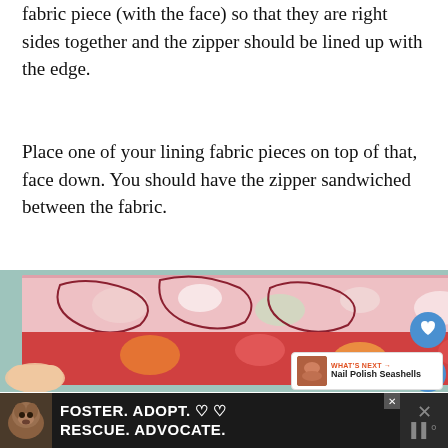fabric piece (with the face) so that they are right sides together and the zipper should be lined up with the edge.
Place one of your lining fabric pieces on top of that, face down. You should have the zipper sandwiched between the fabric.
[Figure (photo): Hands holding colorful floral fabric pieces with a zipper sandwiched between them. A 'What's Next' widget shows 'Nail Polish Seashells'. Heart and share icons visible on right side.]
[Figure (infographic): Advertisement banner reading 'FOSTER. ADOPT. RESCUE. ADVOCATE.' with a dog image on a dark background, with close/dismiss buttons.]